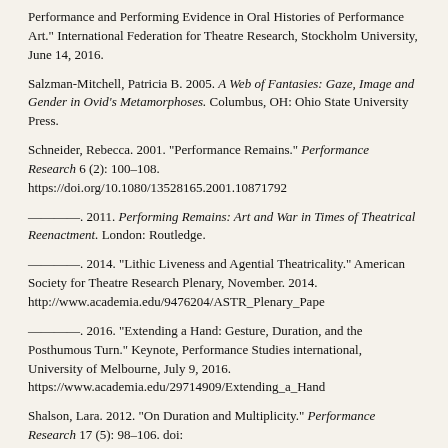Performance and Performing Evidence in Oral Histories of Performance Art." International Federation for Theatre Research, Stockholm University, June 14, 2016.
Salzman-Mitchell, Patricia B. 2005. A Web of Fantasies: Gaze, Image and Gender in Ovid's Metamorphoses. Columbus, OH: Ohio State University Press.
Schneider, Rebecca. 2001. “Performance Remains.” Performance Research 6 (2): 100–108. https://doi.org/10.1080/13528165.2001.10871792
————. 2011. Performing Remains: Art and War in Times of Theatrical Reenactment. London: Routledge.
————. 2014. “Lithic Liveness and Agential Theatricality.” American Society for Theatre Research Plenary, November. 2014. http://www.academia.edu/9476204/ASTR_Plenary_Pape
————. 2016. “Extending a Hand: Gesture, Duration, and the Posthumous Turn.” Keynote, Performance Studies international, University of Melbourne, July 9, 2016. https://www.academia.edu/29714909/Extending_a_Hand
Shalson, Lara. 2012. “On Duration and Multiplicity.” Performance Research 17 (5): 98–106. doi: https://doi.org/10.1080/13528165.2012.728448
Segal, Charles. 1994. “Philomela’s Web and the Pleasures of the Text.” In Modern Critical Theory and Classical Literature, edited by in Irene J.F. De Jong and J.P. Sullivan, 258–80. Leiden: Brill.
von Hofmannsthal, Hugo. 2008. “Moments in Greece (1908-1914).” Translated by Tania and James Stern. In The Whole Difference: Selected Writings of Hugo von